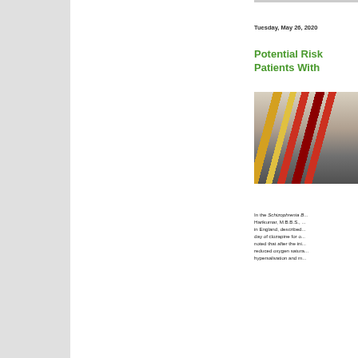Tuesday, May 26, 2020
Potential Risk... Patients With...
[Figure (photo): Photo of blood collection tubes in a rack, with colorful caps (yellow, red) and dark red blood samples visible]
In the Schizophrenia B... Harikumar, M.B.B.S., ... in England, described... day of clozapine for o... noted that after the ini... reduced oxygen satur... hypersalivation and m...